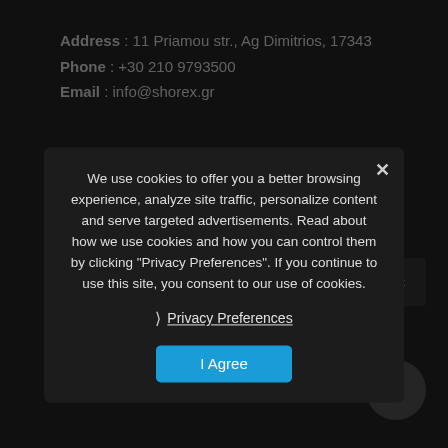Address : 11 Priamou str., Ag Dimitrios, 17343
Phone : +30 210 9793500
Email : info@shorex.gr
MYKONOS OFFICES
Due to the ongoing situation, our Mykonos offices are presently closed. We are here for you assisting your needs...
Address :
Phone : +30 22...
P.O Box : 65
We use cookies to offer you a better browsing experience, analyze site traffic, personalize content and serve targeted advertisements. Read about how we use cookies and how you can control them by clicking "Privacy Preferences". If you continue to use this site, you consent to our use of cookies.
Privacy Preferences
I Agree
9 travellers are considering this tour right now!